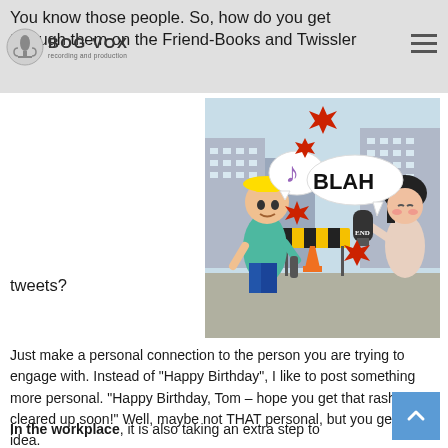You know those people. So, how do you get through them on the Friend-Books and Twissler tweets?
[Figure (illustration): Cartoon illustration showing two animated characters with speech bubbles. One character wears a yellow hard hat and holds a tool, with a musical note speech bubble. The other character holds a microphone with a 'BLAH' speech bubble. Red starburst explosion effects surround them, with a city street in the background.]
Just make a personal connection to the person you are trying to engage with. Instead of "Happy Birthday", I like to post something more personal. "Happy Birthday, Tom – hope you get that rash cleared up soon!" Well, maybe not THAT personal, but you get the idea.
In the workplace, it is also taking an extra step to